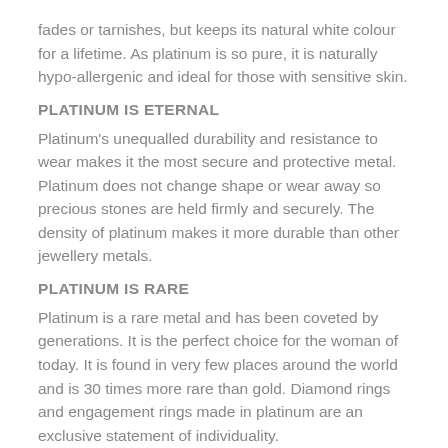fades or tarnishes, but keeps its natural white colour for a lifetime. As platinum is so pure, it is naturally hypo-allergenic and ideal for those with sensitive skin.
PLATINUM IS ETERNAL
Platinum's unequalled durability and resistance to wear makes it the most secure and protective metal. Platinum does not change shape or wear away so precious stones are held firmly and securely. The density of platinum makes it more durable than other jewellery metals.
PLATINUM IS RARE
Platinum is a rare metal and has been coveted by generations. It is the perfect choice for the woman of today. It is found in very few places around the world and is 30 times more rare than gold. Diamond rings and engagement rings made in platinum are an exclusive statement of individuality.
PLATINUM IS VERSATILE
Platinum is versatile, with remarkable qualities that have led to